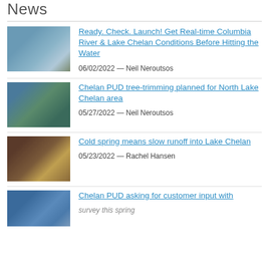News
Ready. Check. Launch! Get Real-time Columbia River & Lake Chelan Conditions Before Hitting the Water — 06/02/2022 — Neil Neroutsos
Chelan PUD tree-trimming planned for North Lake Chelan area — 05/27/2022 — Neil Neroutsos
Cold spring means slow runoff into Lake Chelan — 05/23/2022 — Rachel Hansen
Chelan PUD asking for customer input with survey this spring